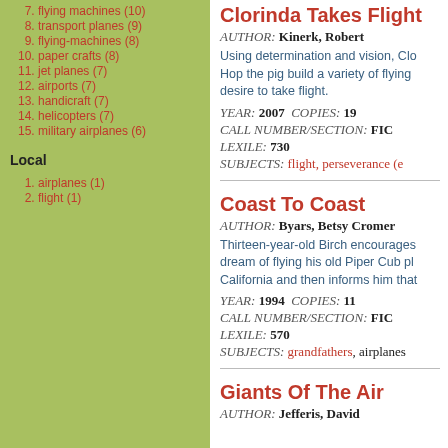7. flying machines (10)
8. transport planes (9)
9. flying-machines (8)
10. paper crafts (8)
11. jet planes (7)
12. airports (7)
13. handicraft (7)
14. helicopters (7)
15. military airplanes (6)
Local
1. airplanes (1)
2. flight (1)
Clorinda Takes Flight
AUTHOR: Kinerk, Robert
Using determination and vision, Clo... Hop the pig build a variety of flying... desire to take flight.
YEAR: 2007  COPIES: 19
CALL NUMBER/SECTION: FIC
LEXILE: 730
SUBJECTS: flight, perseverance (e...
Coast To Coast
AUTHOR: Byars, Betsy Cromer
Thirteen-year-old Birch encourages... dream of flying his old Piper Cub pl... California and then informs him that...
YEAR: 1994  COPIES: 11
CALL NUMBER/SECTION: FIC
LEXILE: 570
SUBJECTS: grandfathers, airplanes...
Giants Of The Air
AUTHOR: Jefferis, David